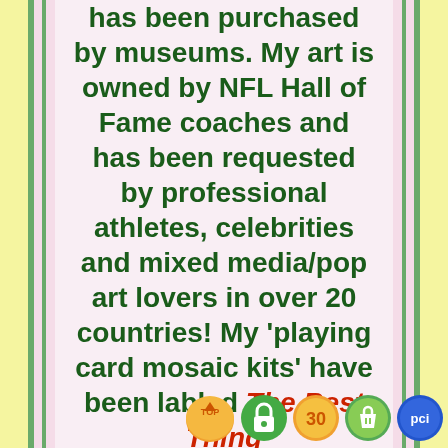has been purchased by museums. My art is owned by NFL Hall of Fame coaches and has been requested by professional athletes, celebrities and mixed media/pop art lovers in over 20 countries! My 'playing card mosaic kits' have been labled The Best Thing
[Figure (other): UI navigation icons in bottom right: orange TOP button, green lock icon, orange 30 badge, green Shopify bag icon, blue PCI badge]